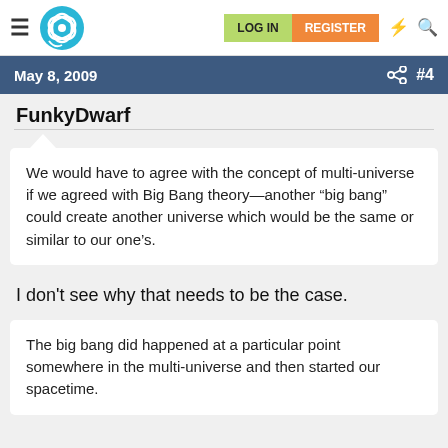LOG IN   REGISTER
May 8, 2009   #4
FunkyDwarf
We would have to agree with the concept of multi-universe if we agreed with Big Bang theory—another “big bang” could create another universe which would be the same or similar to our one’s.
I don't see why that needs to be the case.
The big bang did happened at a particular point somewhere in the multi-universe and then started our spacetime.